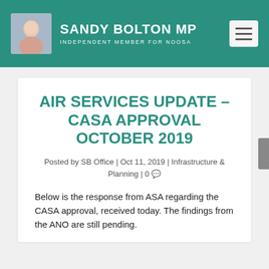SANDY BOLTON MP — INDEPENDENT MEMBER FOR NOOSA
AIR SERVICES UPDATE – CASA APPROVAL OCTOBER 2019
Posted by SB Office | Oct 11, 2019 | Infrastructure & Planning | 0
Below is the response from ASA regarding the CASA approval, received today. The findings from the ANO are still pending.